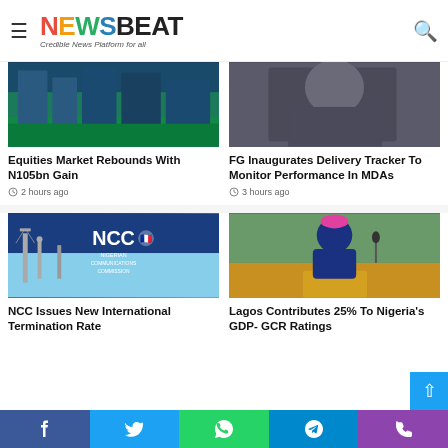NEWSBEAT - Credible News Platform for all
[Figure (photo): Dark teal and green building facade - Equities Market news image]
Equities Market Rebounds With N105bn Gain
2 hours ago
[Figure (photo): Person in grey outfit looking down - FG Inaugurates Delivery Tracker news image]
FG Inaugurates Delivery Tracker To Monitor Performance In MDAs
3 hours ago
[Figure (photo): NCC Nigerian Communications Commission logo with telecom towers]
NCC Issues New International Termination Rate
[Figure (photo): Man in pink cap and blue outfit speaking at podium - Lagos Contributes 25% news image]
Lagos Contributes 25% To Nigeria's GDP- GCR Ratings
Facebook | Twitter | WhatsApp | Telegram | Phone